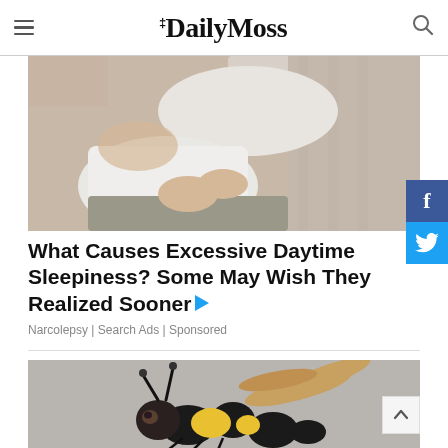The Daily Moss
[Figure (photo): Person lying in bed resting, appears to be sleeping or resting during daytime, wearing a white t-shirt and grey shorts]
What Causes Excessive Daytime Sleepiness? Some May Wish They Realized Sooner
Narcolepsy | Search Ads | Sponsored
[Figure (photo): Balloon animal sculpture shaped like a bee or wasp, made from black and yellow/gold twisted balloons, on a grey background]